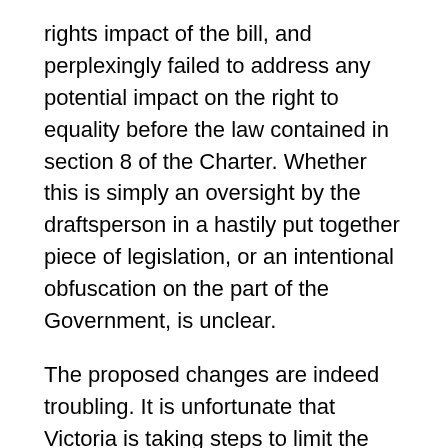rights impact of the bill, and perplexingly failed to address any potential impact on the right to equality before the law contained in section 8 of the Charter. Whether this is simply an oversight by the draftsperson in a hastily put together piece of legislation, or an intentional obfuscation on the part of the Government, is unclear.
The proposed changes are indeed troubling. It is unfortunate that Victoria is taking steps to limit the rights of one of the most vulnerable groups in society, children.
As Paula Gerber and Melissa Castan warned last year:
Children have a right to be heard in decisions that